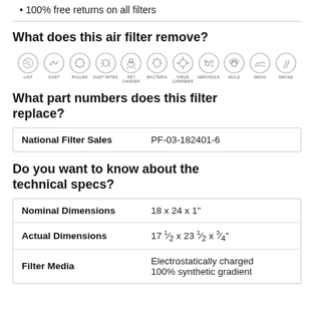100% free returns on all filters
What does this air filter remove?
[Figure (infographic): Row of 11 circular icons showing contaminants the filter removes: LINT, DUST, POLLEN, DUST MITES, PET DANDER, BACTERIA, VIRUS CARRIERS, AEROSOLS, MOLD, SMOG, SMOKE]
What part numbers does this filter replace?
| National Filter Sales | PF-03-182401-6 |
Do you want to know about the technical specs?
| Nominal Dimensions | 18 x 24 x 1" |
| Actual Dimensions | 17 ½ x 23 ½ x ¾" |
| Filter Media | Electrostatically charged 100% synthetic gradient |